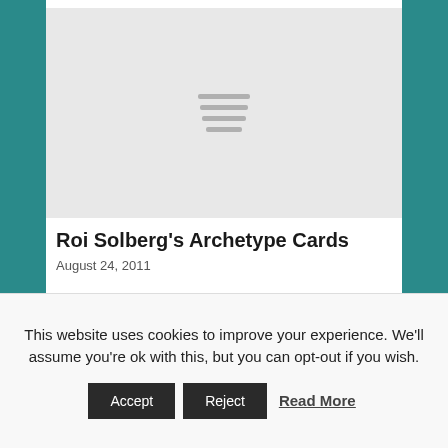[Figure (illustration): Light grey placeholder image with four horizontal lines in the center resembling a loading or placeholder graphic]
Roi Solberg’s Archetype Cards
August 24, 2011
[Figure (photo): Partial view of a brown/tan colored image, partially obscured by cookie banner]
This website uses cookies to improve your experience. We’ll assume you’re ok with this, but you can opt-out if you wish.
Accept   Reject   Read More